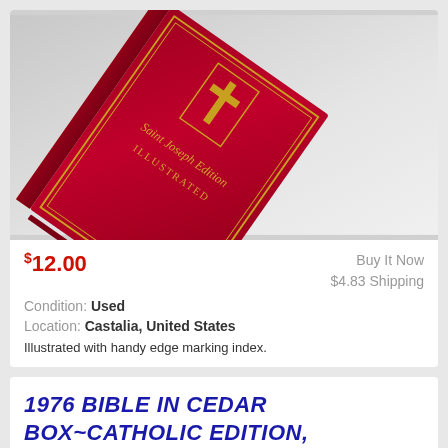[Figure (photo): A red leather-bound Bible - Saint Joseph Edition Illustrated - shown at an angle on a light background, with gold page edges and gold text on the cover]
$12.00    Buy It Now    $4.83 Shipping
Condition: Used
Location: Castalia, United States
Illustrated with handy edge marking index.
1976 BIBLE IN CEDAR BOX~CATHOLIC EDITION, 1976~UNITED STEELWORKERS UNION
[Figure (photo): Bottom portion showing a red cedar box open, revealing what appears to be a bible inside]